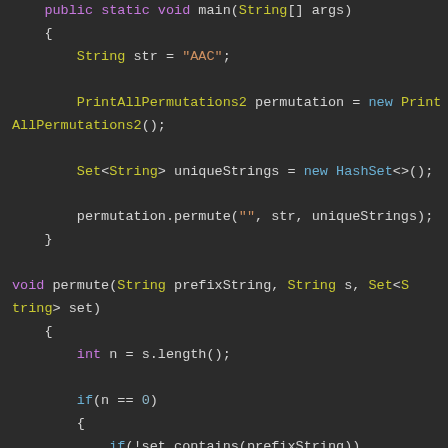[Figure (screenshot): Java code snippet showing a main method with PrintAllPermutations2 and Set<String> usage, and a permute method with recursive logic. Dark IDE theme with syntax highlighting.]